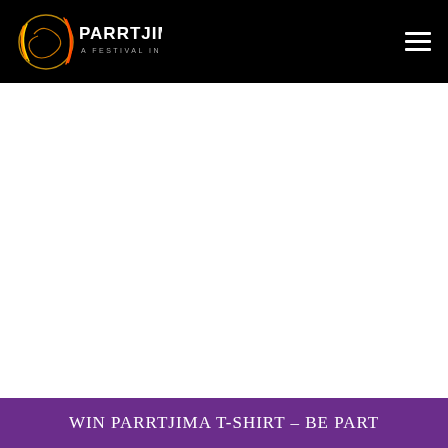PARRTJIMA – A FESTIVAL IN LIGHT
[Figure (other): White space / main content area of the Parrtjima website]
WIN PARRTJIMA T-SHIRT – BE PART